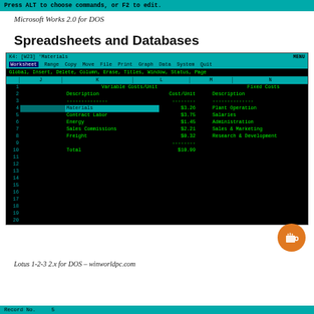Press ALT to choose commands, or F2 to edit.
Microsoft Works 2.0 for DOS
Spreadsheets and Databases
[Figure (screenshot): DOS spreadsheet screenshot from Microsoft Works 2.0 showing a worksheet with Variable Costs/Unit and Fixed Costs columns. Row 4 'Materials' is highlighted in teal. Data includes: Materials $3.26, Contract Labor $3.75, Energy $1.45, Sales Commissions $2.21, Freight $0.32, Total $10.99. Fixed Costs column shows: Plant Operation, Salaries, Administration, Sales & Marketing, Research & Development.]
Lotus 1-2-3 2.x for DOS – winworldpc.com
Record No.     5